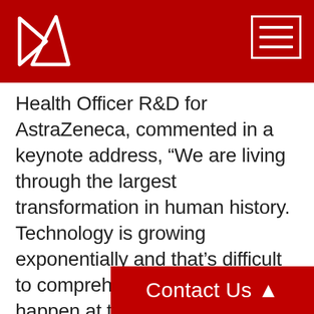[Figure (logo): AstraZeneca / company logo — white diamond arrow shape on dark red background]
Health Officer R&D for AstraZeneca, commented in a keynote address, “We are living through the largest transformation in human history. Technology is growing exponentially and that’s difficult to comprehend. Change doesn’t happen at the pace of technology development. Industries take a longer time to change than technology because changing behaviours is much harder. But the internet has changed behaviours. Billions